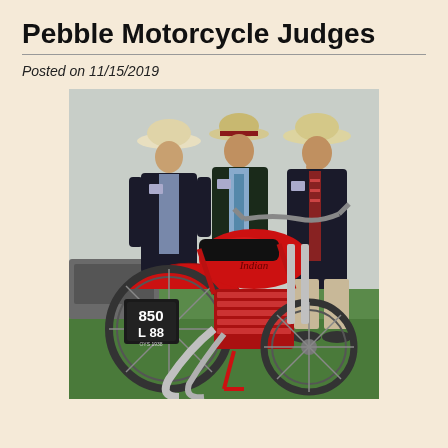Pebble Motorcycle Judges
Posted on 11/15/2019
[Figure (photo): Three men in dark blazers and straw hats examining a red vintage motorcycle (license plate reading 850 L88) on a green lawn at what appears to be a concours d'elegance event.]